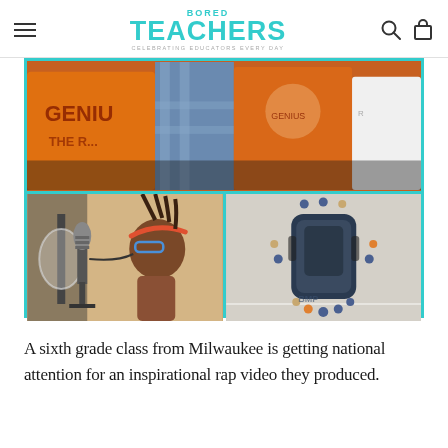BORED TEACHERS — Celebrating Educators Every Day
[Figure (photo): Photo collage with teal border: top panel shows students wearing orange 'GENIUS' t-shirts; bottom-left panel shows a student singing into a studio microphone with glasses and a headband; bottom-right panel shows an aerial view of students arranged around a car in a parking lot.]
A sixth grade class from Milwaukee is getting national attention for an inspirational rap video they produced.